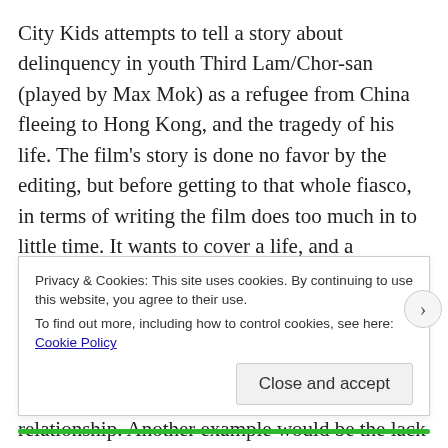City Kids attempts to tell a story about delinquency in youth Third Lam/Chor-san (played by Max Mok) as a refugee from China fleeing to Hong Kong, and the tragedy of his life. The film's story is done no favor by the editing, but before getting to that whole fiasco, in terms of writing the film does too much in to little time. It wants to cover a life, and a significant portion of it just comes across as a cliff notes version of events. For example, Third Lam doesn't have a good relationship with his cousin, but only in one very brief scene do they ever exchange dialogue showcasing their trouble relationship. Another example would be the lack of a father figure in Third Lam's life. In the story, the closest person to fitting that bill would be Big Skin Chuen (played by Shing Fui-On), but once Big Skin Chuen
Privacy & Cookies: This site uses cookies. By continuing to use this website, you agree to their use.
To find out more, including how to control cookies, see here: Cookie Policy
Close and accept